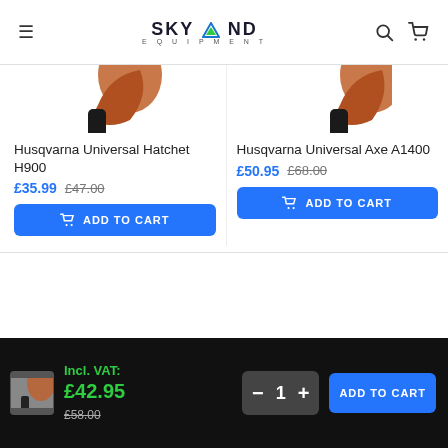Skyland Equipment
[Figure (photo): Product image of Husqvarna Universal Hatchet H900 (partially visible from top)]
[Figure (photo): Product image of Husqvarna Universal Axe A1400 (partially visible from top)]
Husqvarna Universal Hatchet H900
£35.99  £47.00
ADD TO CART
Husqvarna Universal Axe A1400
£50.95  £68.00
ADD TO CART
Incl. VAT: £42.95
£58.00
1
ADD TO CART